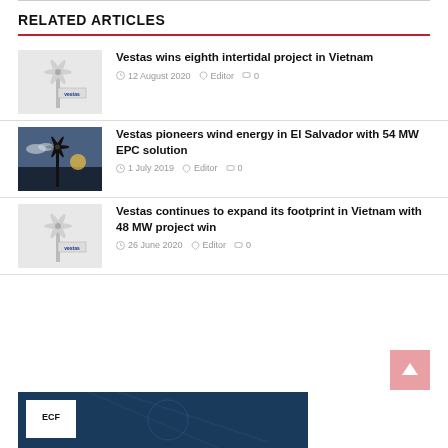RELATED ARTICLES
[Figure (photo): Wind turbine with Vestas logo]
Vestas wins eighth intertidal project in Vietnam
12 August 2020  Editor  0
[Figure (photo): Wind turbine silhouette against sunset sky]
Vestas pioneers wind energy in El Salvador with 54 MW EPC solution
1 July 2019  Editor  0
[Figure (photo): Wind turbine with Vestas logo]
Vestas continues to expand its footprint in Vietnam with 48 MW project win
26 June 2020  Editor  0
[Figure (photo): Bottom banner with logo on dark blue background]